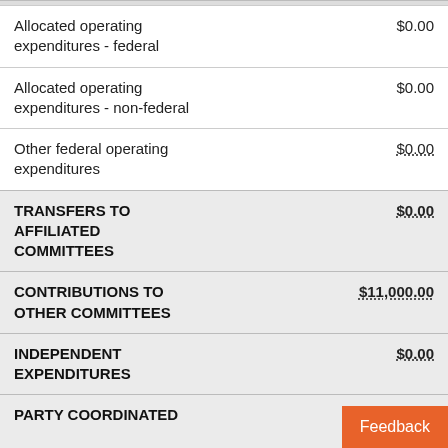| Category | Amount |
| --- | --- |
| Allocated operating expenditures - federal | $0.00 |
| Allocated operating expenditures - non-federal | $0.00 |
| Other federal operating expenditures | $0.00 |
| TRANSFERS TO AFFILIATED COMMITTEES | $0.00 |
| CONTRIBUTIONS TO OTHER COMMITTEES | $11,000.00 |
| INDEPENDENT EXPENDITURES | $0.00 |
| PARTY COORDINATED |  |